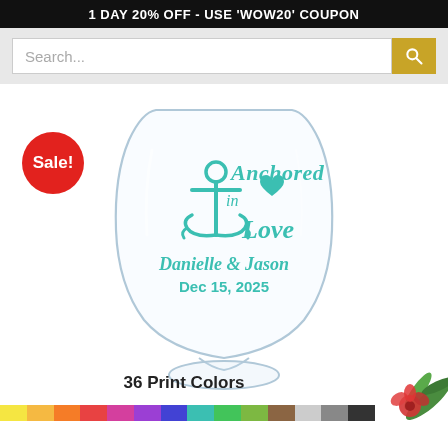1 DAY 20% OFF - USE 'WOW20' COUPON
Search...
[Figure (photo): Stemless wine glass with teal 'Anchored in Love' design featuring an anchor graphic, personalized with 'Danielle & Jason Dec 15, 2025'. A red 'Sale!' badge appears top left. Bottom right shows partial floral decoration. Color swatches at bottom.]
36 Print Colors